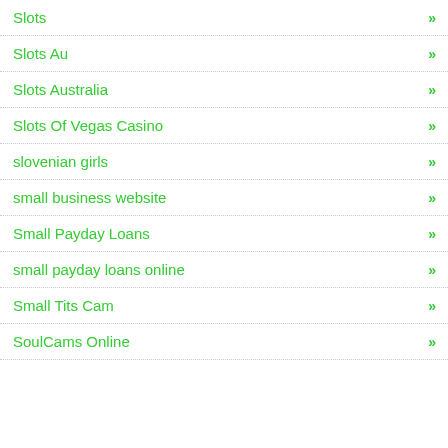Slots »
Slots Au »
Slots Australia »
Slots Of Vegas Casino »
slovenian girls »
small business website »
Small Payday Loans »
small payday loans online »
Small Tits Cam »
SoulCams Online »